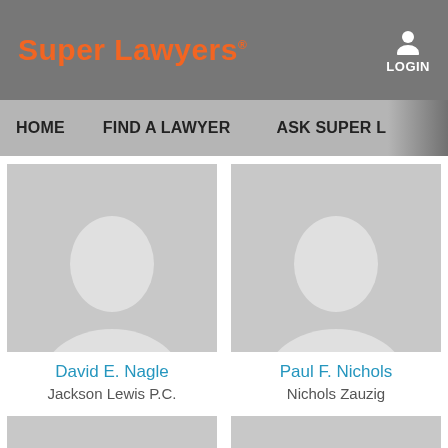Super Lawyers
LOGIN
HOME   FIND A LAWYER   ASK SUPER L...
[Figure (illustration): Default placeholder silhouette image for David E. Nagle]
David E. Nagle
Jackson Lewis P.C.
[Figure (illustration): Default placeholder silhouette image for Paul F. Nichols]
Paul F. Nichols
Nichols Zauzig
[Figure (illustration): Default placeholder silhouette image, third lawyer card (bottom left)]
[Figure (illustration): Default placeholder silhouette image, fourth lawyer card (bottom right)]